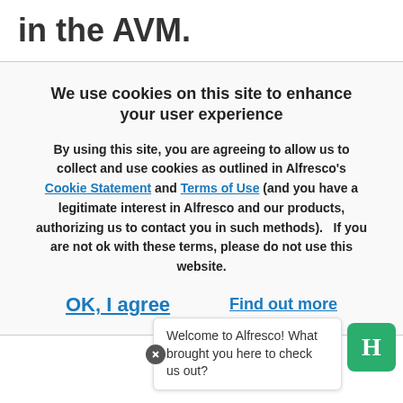in the AVM.
The AVM is a very general-purpose content repository:
[Figure (screenshot): Cookie consent banner overlay with title 'We use cookies on this site to enhance your user experience', body text about agreeing to cookies referencing Alfresco's Cookie Statement and Terms of Use, with 'OK, I agree' and 'Find out more' buttons.]
The Tomcat-based virtualization server transforms the virtualized webapp files in the AVM into a set of name-mangled virtual webapp files that can be served. some of this is served out of 'work' directory out
[Figure (screenshot): Chat widget showing 'Welcome to Alfresco! What brought you here to check us out?' with a green H icon button and a close button.]